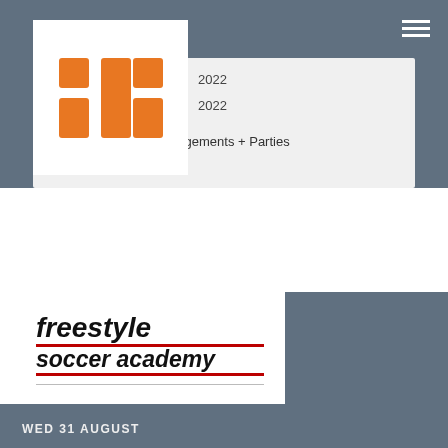[Figure (logo): LinkedIn-style logo with orange 'in' symbol on white background]
…2022
…2022
Weddings Engagements + Parties
[Figure (logo): Freestyle Soccer Academy logo with bold italic text and red underlines]
WED 31 AUGUST